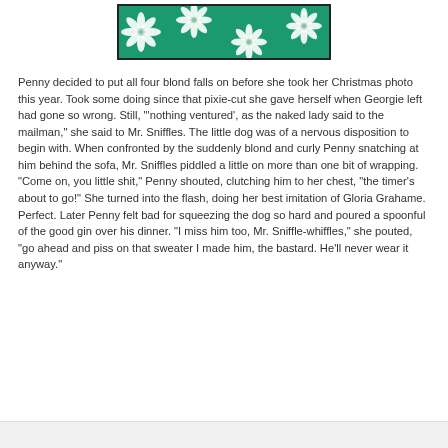[Figure (photo): A cropped photo showing a fabric or wrapping paper with white poinsettia flowers on a green background, framed with a dark border.]
Penny decided to put all four blond falls on before she took her Christmas photo this year. Took some doing since that pixie-cut she gave herself when Georgie left had gone so wrong. Still, "'nothing ventured', as the naked lady said to the mailman," she said to Mr. Sniffles. The little dog was of a nervous disposition to begin with. When confronted by the suddenly blond and curly Penny snatching at him behind the sofa, Mr. Sniffles piddled a little on more than one bit of wrapping. "Come on, you little shit," Penny shouted, clutching him to her chest, "the timer's about to go!" She turned into the flash, doing her best imitation of Gloria Grahame. Perfect. Later Penny felt bad for squeezing the dog so hard and poured a spoonful of the good gin over his dinner. "I miss him too, Mr. Sniffle-whiffles," she pouted, "go ahead and piss on that sweater I made him, the bastard. He'll never wear it anyway."